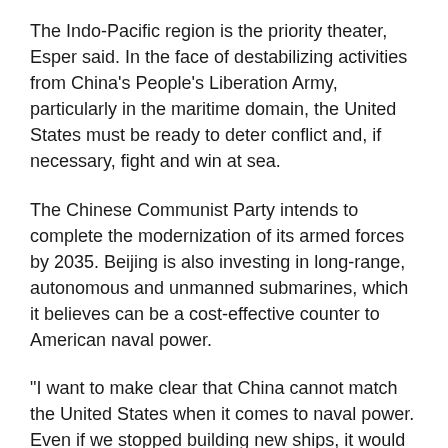The Indo-Pacific region is the priority theater, Esper said. In the face of destabilizing activities from China's People's Liberation Army, particularly in the maritime domain, the United States must be ready to deter conflict and, if necessary, fight and win at sea.
The Chinese Communist Party intends to complete the modernization of its armed forces by 2035. Beijing is also investing in long-range, autonomous and unmanned submarines, which it believes can be a cost-effective counter to American naval power.
"I want to make clear that China cannot match the United States when it comes to naval power. Even if we stopped building new ships, it would take the PRC [People's Republic of China] years to close the gap when it comes to our capability on the high seas," Esper said.
"Nonetheless, we must stay ahead. We must retain